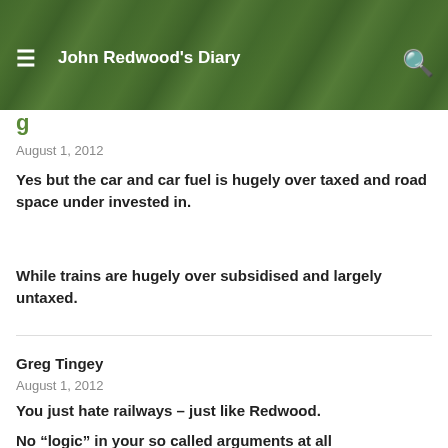John Redwood's Diary
g
August 1, 2012
Yes but the car and car fuel is hugely over taxed and road space under invested in.
While trains are hugely over subsidised and largely untaxed.
Greg Tingey
August 1, 2012
You just hate railways – just like Redwood.
No “logic” in your so called arguments at all